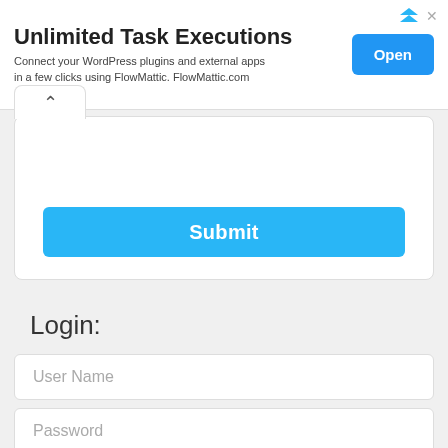[Figure (screenshot): Advertisement banner: 'Unlimited Task Executions' with subtext 'Connect your WordPress plugins and external apps in a few clicks using FlowMattic. FlowMattic.com' and a blue 'Open' button. Ad attribution icons in top right.]
[Figure (screenshot): A white panel with a caret/chevron tab at top-left and a blue 'Submit' button at the bottom.]
Login:
[Figure (screenshot): User Name input field placeholder text]
[Figure (screenshot): Password input field placeholder text]